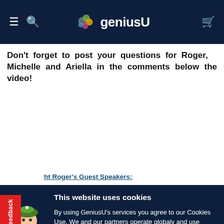geniusU navigation header with hamburger menu, search, logo, and cart icons
Don't forget to post your questions for Roger, Michelle and Ariella in the comments below the video!
ht Roger's Guest Speakers:
[Figure (illustration): Cookie consent mascot: cartoon character in green outfit with turban holding a cookie]
This website uses cookies
By using GeniusU's services you agree to our Cookies Use. We and our partners operate globaly and use cookies, including for analytics, personalisation, and ads.
Terms & Conditions   Privacy Policy
Close